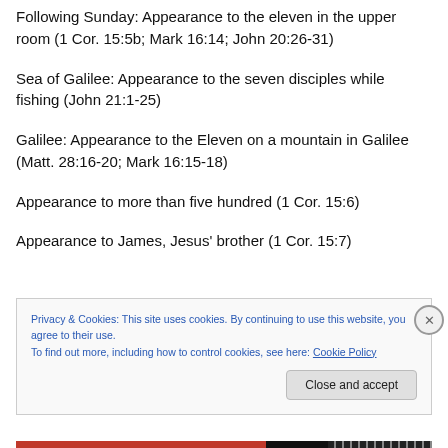Following Sunday: Appearance to the eleven in the upper room (1 Cor. 15:5b; Mark 16:14; John 20:26-31)
Sea of Galilee: Appearance to the seven disciples while fishing (John 21:1-25)
Galilee: Appearance to the Eleven on a mountain in Galilee (Matt. 28:16-20; Mark 16:15-18)
Appearance to more than five hundred (1 Cor. 15:6)
Appearance to James, Jesus' brother (1 Cor. 15:7)
Privacy & Cookies: This site uses cookies. By continuing to use this website, you agree to their use. To find out more, including how to control cookies, see here: Cookie Policy